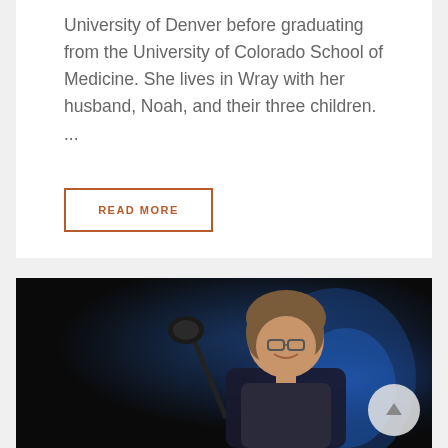University of Denver before graduating from the University of Colorado School of Medicine. She lives in Wray with her husband, Noah, and their three children. ...
READ MORE
[Figure (photo): A woman with short brown hair and glasses smiling at a podium with a microphone, photographed against a dark background with blue lighting]